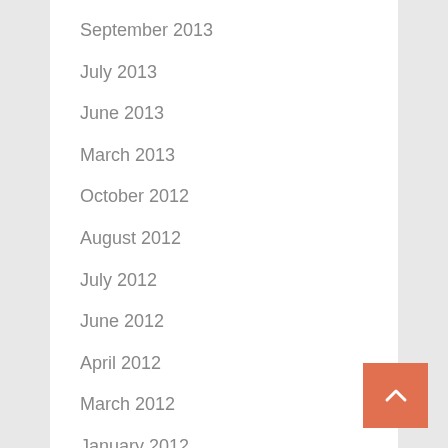September 2013
July 2013
June 2013
March 2013
October 2012
August 2012
July 2012
June 2012
April 2012
March 2012
January 2012
December 2011
November 2011
October 2011
September 2011